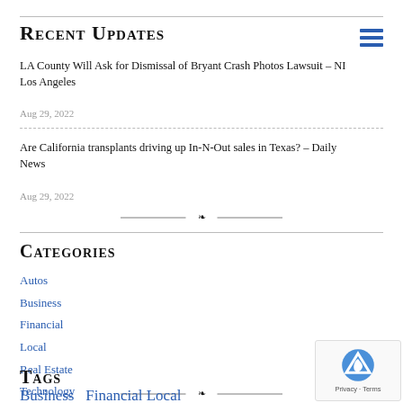Recent Updates
LA County Will Ask for Dismissal of Bryant Crash Photos Lawsuit – NI Los Angeles
Aug 29, 2022
Are California transplants driving up In-N-Out sales in Texas? – Daily News
Aug 29, 2022
Categories
Autos
Business
Financial
Local
Real Estate
Technology
Tags
Business  Financial Local